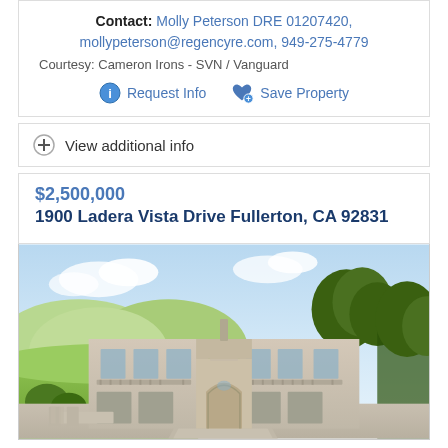Contact: Molly Peterson DRE 01207420, mollypeterson@regencyre.com, 949-275-4779
Courtesy: Cameron Irons - SVN / Vanguard
Request Info
Save Property
View additional info
$2,500,000
1900 Ladera Vista Drive Fullerton, CA 92831
[Figure (photo): Exterior rendering of a large two-story Mediterranean-style home with arch entry, multiple garage doors, surrounded by green trees and hills in the background.]